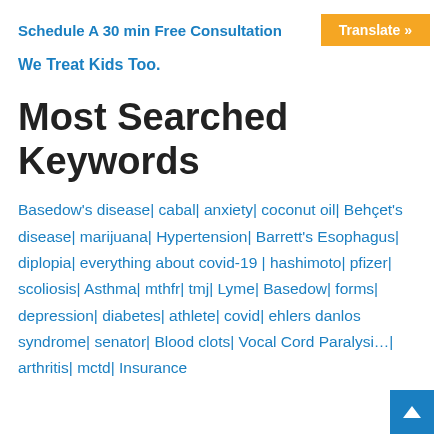Schedule A 30 min Free Consultation   Translate »
We Treat Kids Too.
Most Searched Keywords
Basedow's disease| cabal| anxiety| coconut oil| Behçet's disease| marijuana| Hypertension| Barrett's Esophagus| diplopia| everything about covid-19 | hashimoto| pfizer| scoliosis| Asthma| mthfr| tmj| Lyme| Basedow| forms| depression| diabetes| athlete| covid| ehlers danlos syndrome| senator| Blood clots| Vocal Cord Paralysis| arthritis| mctd| Insurance